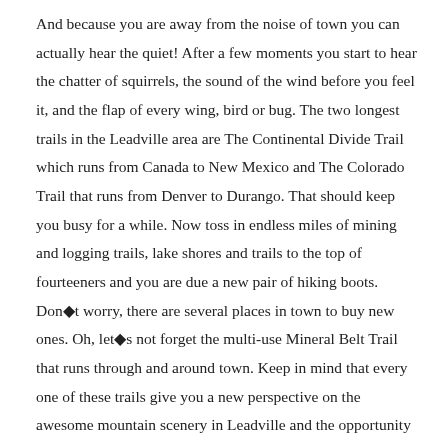And because you are away from the noise of town you can actually hear the quiet! After a few moments you start to hear the chatter of squirrels, the sound of the wind before you feel it, and the flap of every wing, bird or bug. The two longest trails in the Leadville area are The Continental Divide Trail which runs from Canada to New Mexico and The Colorado Trail that runs from Denver to Durango. That should keep you busy for a while. Now toss in endless miles of mining and logging trails, lake shores and trails to the top of fourteeners and you are due a new pair of hiking boots. Don◆t worry, there are several places in town to buy new ones. Oh, let◆s not forget the multi-use Mineral Belt Trail that runs through and around town. Keep in mind that every one of these trails give you a new perspective on the awesome mountain scenery in Leadville and the opportunity to see some rocky mountain wildlife such as mule deer, elk, mountain goats, marmots, and eagles. Check out any of the places below for hours, directions and contact information for related services that support finding a new pair of boots or spectacular hiking trail. One of the